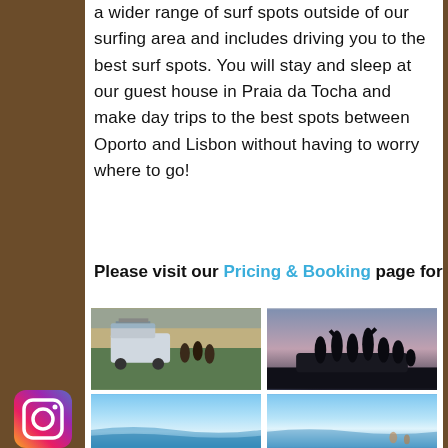a wider range of surf spots outside of our surfing area and includes driving you to the best surf spots. You will stay and sleep at our guest house in Praia da Tocha and make day trips to the best spots between Oporto and Lisbon without having to worry where to go!
Please visit our Pricing & Booking page for details.
[Figure (photo): A van with surfboards on the roof parked near a coastal viewpoint with people standing nearby, overlooking a surf beach]
[Figure (photo): Silhouettes of a group of people celebrating on top of a vehicle at sunset/dusk against a colorful sky]
[Figure (photo): Ocean beach scene with waves and blue sky, taken from near shore level]
[Figure (photo): Ocean beach scene with waves and blue sky, people visible on the sand]
[Figure (logo): Instagram social media icon]
[Figure (logo): Facebook social media icon]